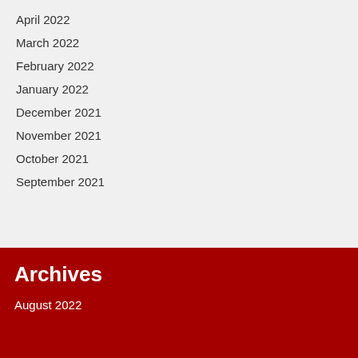April 2022
March 2022
February 2022
January 2022
December 2021
November 2021
October 2021
September 2021
Archives
August 2022